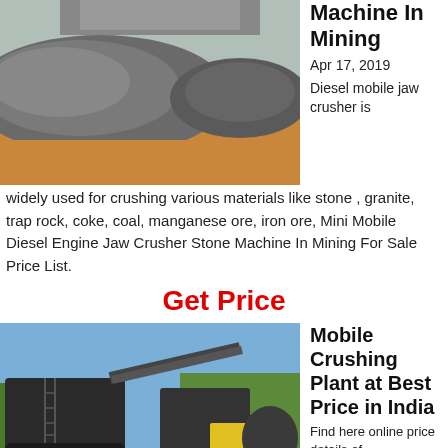[Figure (photo): Outdoor mining site with a large pile of crushed grey stone/gravel on sandy orange ground, with equipment visible in background]
Machine In Mining
Apr 17, 2019
Diesel mobile jaw crusher is widely used for crushing various materials like stone , granite, trap rock, coke, coal, manganese ore, iron ore, Mini Mobile Diesel Engine Jaw Crusher Stone Machine In Mining For Sale Price List.
Get Price
[Figure (photo): Mobile crushing plant machinery on a job site with blue sky and trees in background, large tracked crushers and conveyors visible]
Mobile Crushing Plant at Best Price in India
Find here online price details of